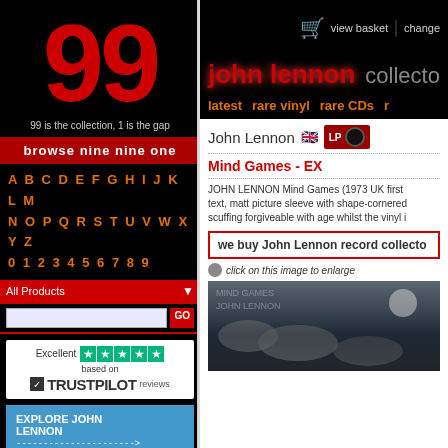99
99 is the collection, 1 is the gap
browse nine nine one
A B C D E F G H I J K L M
N O P Q R S T U V W X Y Z
0 1 2 3 4 5 6 7 8 9
All Products
[Figure (other): Trustpilot rating box: Excellent, 5 stars, based on TRUSTPILOT reviews]
EXPLORE JOHN LENNON
---------------------->
COLLECTORS STORE
view basket | change
john lennon collecto
latest   rare vinyl   rare CDs   r
John Lennon 🇬🇧 LP
Mind Games - EX
JOHN LENNON Mind Games (1973 UK first text, matt picture sleeve with shape-cornered scuffing forgiveable with age whilst the vinyl i
we buy John Lennon record collecto
click on this image to enlarge
[Figure (photo): Album cover: Mind Games by John Lennon, showing clouds and moon]